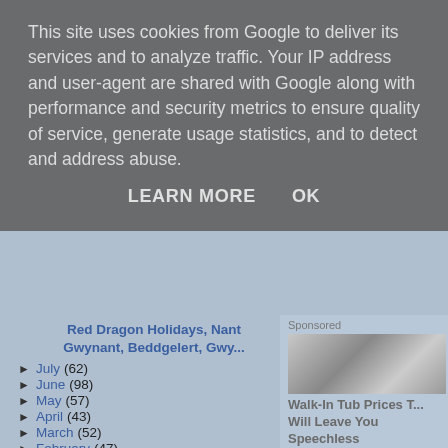This site uses cookies from Google to deliver its services and to analyze traffic. Your IP address and user-agent are shared with Google along with performance and security metrics to ensure quality of service, generate usage statistics, and to detect and address abuse.
LEARN MORE    OK
Red Dragon Holidays, Nant Gwynant, Beddgelert, Gwy...
► July (62)
► June (98)
► May (57)
► April (43)
► March (52)
► February (47)
► January (39)
► 2018 (744)
Sponsored
[Figure (photo): Walk-in tub photo showing interior mechanism and bathtub]
Walk-In Tub Prices That Will Leave You Speechless
Bathroom    Learn